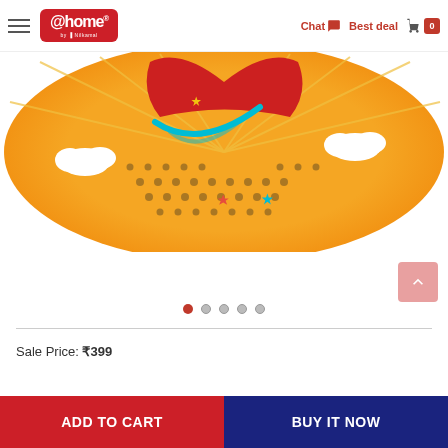@home by Nilkamal — Chat | Best deal | Cart 0
[Figure (photo): A colorful comic/pop-art style decorative bowl or plate with orange background, red center, cloud/explosion motifs, stars, and halftone dot pattern.]
Sale Price: ₹399
ADD TO CART
BUY IT NOW